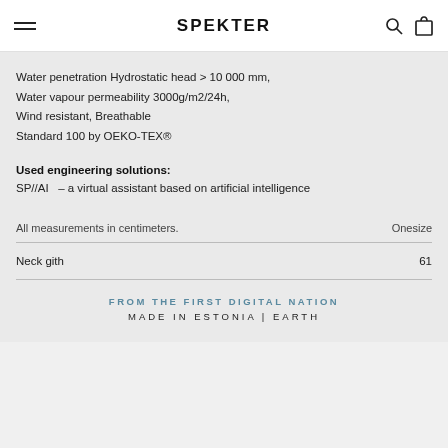SPEKTER
Water penetration Hydrostatic head > 10 000 mm,
Water vapour permeability 3000g/m2/24h,
Wind resistant, Breathable
Standard 100 by OEKO-TEX®
Used engineering solutions:
SP//AI  – a virtual assistant based on artificial intelligence
| All measurements in centimeters. | Onesize |
| --- | --- |
| Neck gith | 61 |
FROM THE FIRST DIGITAL NATION
MADE IN ESTONIA | EARTH